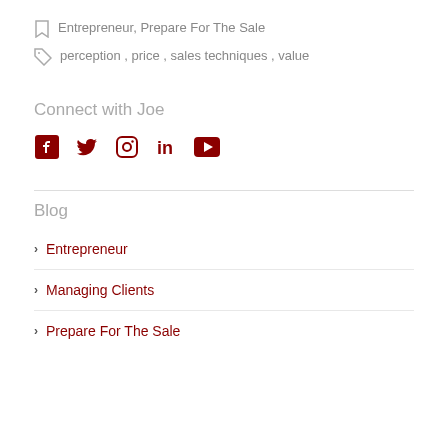Entrepreneur, Prepare For The Sale
perception , price , sales techniques , value
Connect with Joe
[Figure (other): Social media icons: Facebook, Twitter, Instagram, LinkedIn, YouTube]
Blog
Entrepreneur
Managing Clients
Prepare For The Sale